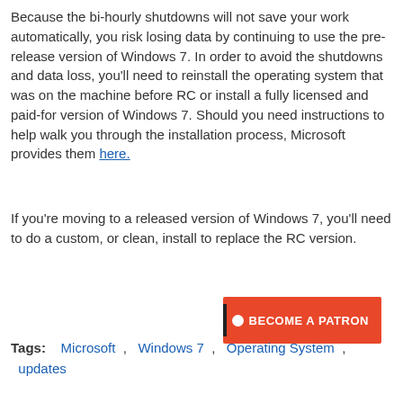Because the bi-hourly shutdowns will not save your work automatically, you risk losing data by continuing to use the pre-release version of Windows 7. In order to avoid the shutdowns and data loss, you'll need to reinstall the operating system that was on the machine before RC or install a fully licensed and paid-for version of Windows 7. Should you need instructions to help walk you through the installation process, Microsoft provides them here.
If you're moving to a released version of Windows 7, you'll need to do a custom, or clean, install to replace the RC version.
[Figure (other): Orange 'BECOME A PATRON' button with black vertical bar and white circle icon on the left]
Tags:   Microsoft  ,   Windows 7  ,   Operating System  ,   updates